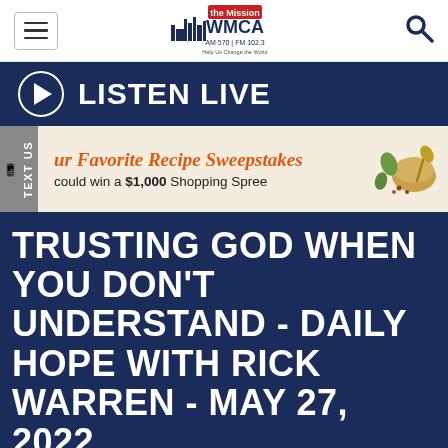The Mission WMCA AM 570 | FM 102.3 — Help Us Change the World
LISTEN LIVE
[Figure (infographic): Advertisement banner: 'ur Favorite Recipe Sweepstakes — could win a $1,000 Shopping Spree' with food imagery on right]
TRUSTING GOD WHEN YOU DON'T UNDERSTAND - DAILY HOPE WITH RICK WARREN - MAY 27, 2022